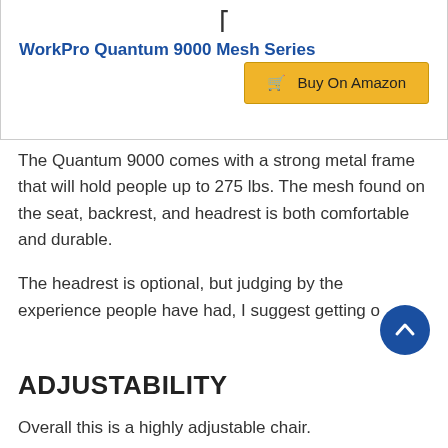WorkPro Quantum 9000 Mesh Series
Buy On Amazon
The Quantum 9000 comes with a strong metal frame that will hold people up to 275 lbs. The mesh found on the seat, backrest, and headrest is both comfortable and durable.
The headrest is optional, but judging by the experience people have had, I suggest getting o
ADJUSTABILITY
Overall this is a highly adjustable chair.